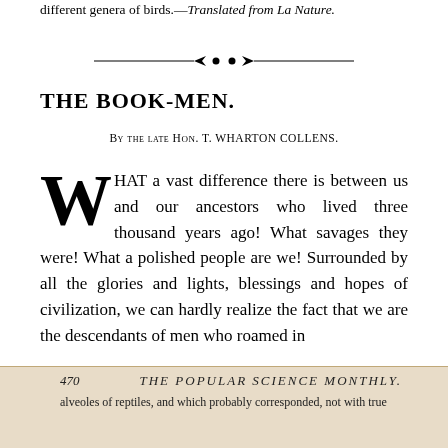different genera of birds.—Translated from La Nature.
[Figure (illustration): Decorative divider with arrows pointing inward toward two central dots, flanked by horizontal lines]
THE BOOK-MEN.
By the late Hon. T. Wharton Collens.
WHAT a vast difference there is between us and our ancestors who lived three thousand years ago! What savages they were! What a polished people are we! Surrounded by all the glories and lights, blessings and hopes of civilization, we can hardly realize the fact that we are the descendants of men who roamed in
470   THE POPULAR SCIENCE MONTHLY.   alveoles of reptiles, and which probably corresponded, not with true